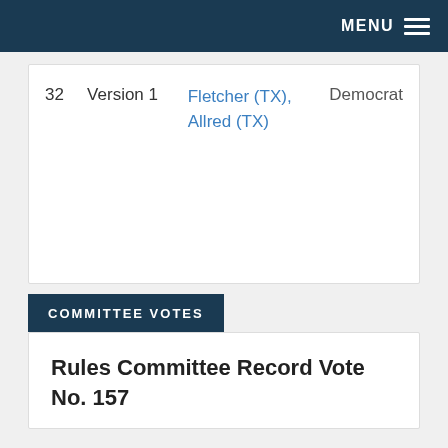MENU
|  | Version | Sponsors | Party |
| --- | --- | --- | --- |
| 32 | Version 1 | Fletcher (TX), Allred (TX) | Democrat |
COMMITTEE VOTES
Rules Committee Record Vote No. 157